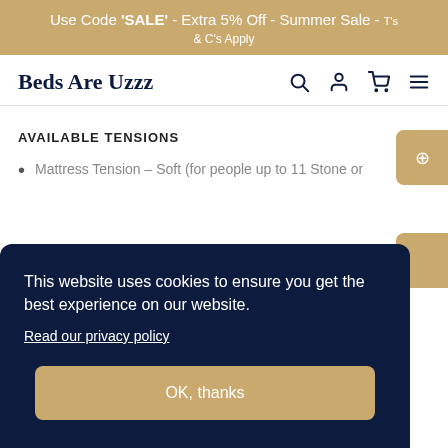Use Code 'SALE' - Extra 5% Off - Summer Sale - T's & C's Apply
Beds Are Uzzz
AVAILABLE TENSIONS
Mattress Tension – Soft (for people up to 11 Stone or
This website uses cookies to ensure you get the best experience on our website. Read our privacy policy
OK, thanks